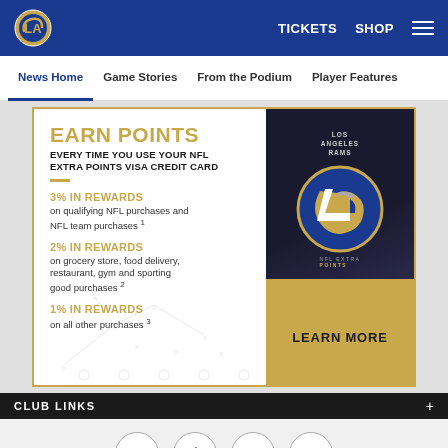LA Rams - TICKETS SHOP
News Home  Game Stories  From the Podium  Player Features
[Figure (infographic): NFL Extra Points Visa Credit Card advertisement. EARN POINTS EVERY TIME YOU USE YOUR NFL EXTRA POINTS VISA CREDIT CARD. 3% IN REWARDS on qualifying NFL purchases and NFL team purchases 1. 2% IN REWARDS on grocery store, food delivery, restaurant, gym and sporting good purchases 2. 1% IN REWARDS on all other purchases 3. LEARN MORE button. Los Angeles Rams credit card image on dark background.]
CLUB LINKS
Facebook Twitter Email Link social sharing buttons